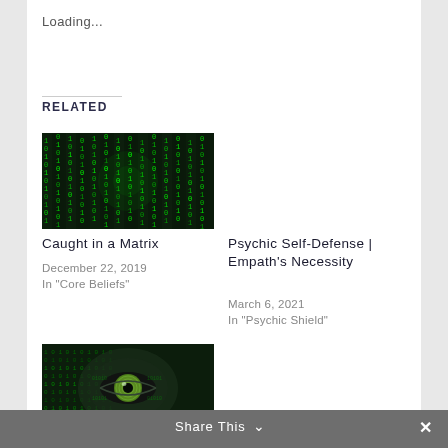Loading...
RELATED
[Figure (photo): Matrix-style digital rain green code background image for 'Caught in a Matrix' article]
Caught in a Matrix
December 22, 2019
In "Core Beliefs"
Psychic Self-Defense | Empath's Necessity
March 6, 2021
In "Psychic Shield"
[Figure (photo): Matrix-style digital rain with a glowing green eye visible through the code for 'Thought Awareness | Adjusting Your Matrix' article]
Thought Awareness |
Adjusting Your Matrix
Share This ∨   ✕